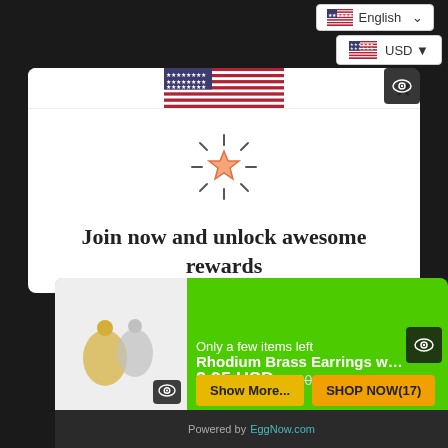English  USD
[Figure (screenshot): US flag displayed in modal header area]
[Figure (illustration): Shining star icon with rays, rewards symbol]
Join now and unlock awesome rewards
Earn points and redeem for rewards
Join Now
Only a few items left
Rhodium Brass Earrings with AAA...
2.95 USD  5.90 USD
Show More...   SHOP NOW(17)
Powered by EggNow.com